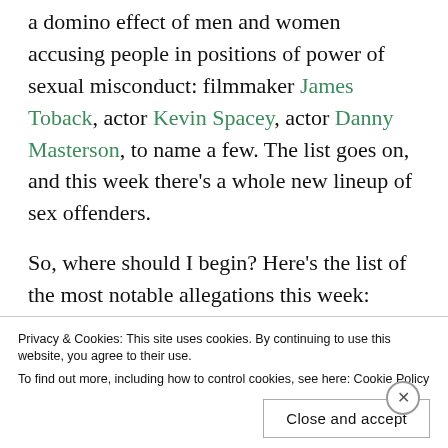a domino effect of men and women accusing people in positions of power of sexual misconduct: filmmaker James Toback, actor Kevin Spacey, actor Danny Masterson, to name a few. The list goes on, and this week there's a whole new lineup of sex offenders.
So, where should I begin? Here's the list of the most notable allegations this week:
Actor Ed Westwick, best known for playing the manipulative Chuck Bass in Gossip Girl, has been accused of rape by two women within a
Privacy & Cookies: This site uses cookies. By continuing to use this website, you agree to their use. To find out more, including how to control cookies, see here: Cookie Policy